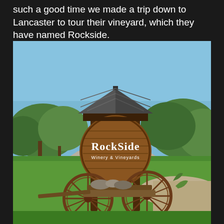such a good time we made a trip down to Lancaster to tour their vineyard, which they have named Rockside.
[Figure (photo): Outdoor entrance sign for Rockside Winery & Vineyards. A round wooden barrel-top sign with 'ROCKSIDE WINERY & VINEYARDS' in white text hangs under a small wooden roof structure supported by two posts. In the foreground sits a rusty antique farm implement/wagon with large iron wheels. Green lawn and trees visible in the background under a blue sky.]